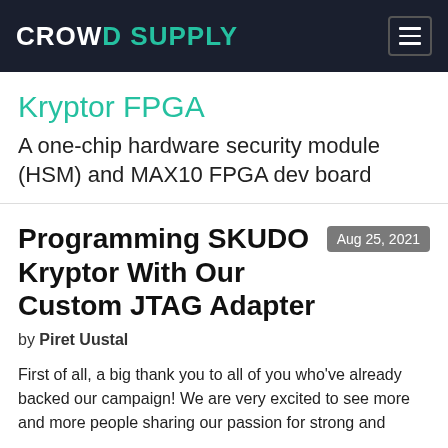CROWD SUPPLY
Kryptor FPGA
A one-chip hardware security module (HSM) and MAX10 FPGA dev board
Programming SKUDO Kryptor With Our Custom JTAG Adapter
Aug 25, 2021
by Piret Uustal
First of all, a big thank you to all of you who've already backed our campaign! We are very excited to see more and more people sharing our passion for strong and